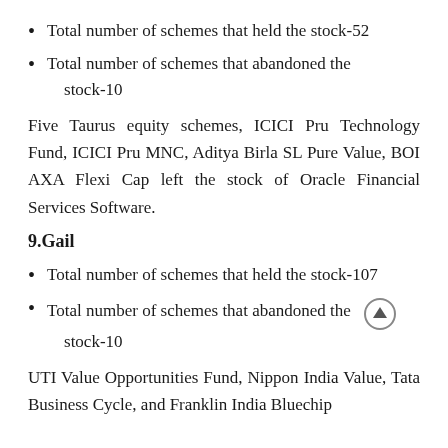Total number of schemes that held the stock-52
Total number of schemes that abandoned the stock-10
Five Taurus equity schemes, ICICI Pru Technology Fund, ICICI Pru MNC, Aditya Birla SL Pure Value, BOI AXA Flexi Cap left the stock of Oracle Financial Services Software.
9.Gail
Total number of schemes that held the stock-107
Total number of schemes that abandoned the stock-10
UTI Value Opportunities Fund, Nippon India Value, Tata Business Cycle, and Franklin India Bluechip